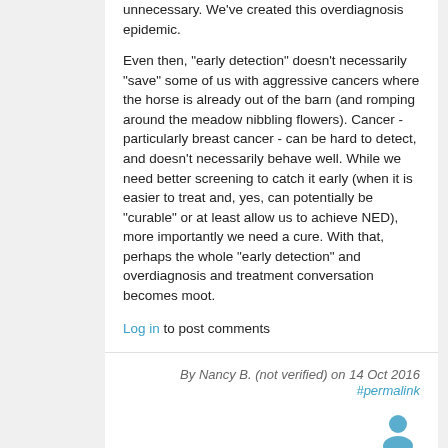unnecessary. We've created this overdiagnosis epidemic.
Even then, "early detection" doesn't necessarily "save" some of us with aggressive cancers where the horse is already out of the barn (and romping around the meadow nibbling flowers). Cancer - particularly breast cancer - can be hard to detect, and doesn't necessarily behave well. While we need better screening to catch it early (when it is easier to treat and, yes, can potentially be "curable" or at least allow us to achieve NED), more importantly we need a cure. With that, perhaps the whole "early detection" and overdiagnosis and treatment conversation becomes moot.
Log in to post comments
By Nancy B. (not verified) on 14 Oct 2016
#permalink
[Figure (illustration): User avatar icon — a simple blue silhouette of a person]